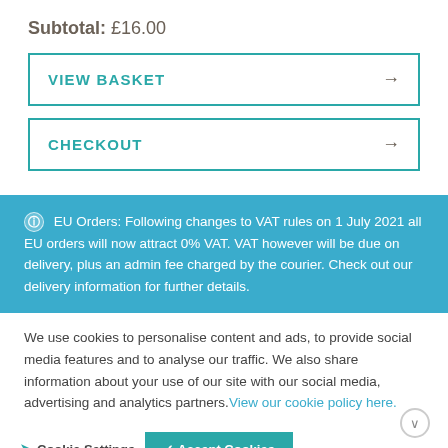Subtotal: £16.00
VIEW BASKET →
CHECKOUT →
ℹ EU Orders: Following changes to VAT rules on 1 July 2021 all EU orders will now attract 0% VAT. VAT however will be due on delivery, plus an admin fee charged by the courier. Check out our delivery information for further details.
We use cookies to personalise content and ads, to provide social media features and to analyse our traffic. We also share information about your use of our site with our social media, advertising and analytics partners. View our cookie policy here.
Cookie Settings  ✓ Accept Cookies